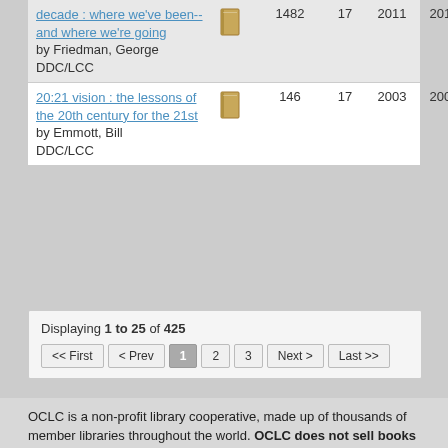| Title | Format | Libraries | Editions | First | Last |
| --- | --- | --- | --- | --- | --- |
| decade : where we've been-- and where we're going by Friedman, George DDC/LCC | [book icon] | 1482 | 17 | 2011 | 2013 |
| 20:21 vision : the lessons of the 20th century for the 21st by Emmott, Bill DDC/LCC | [book icon] | 146 | 17 | 2003 | 2004 |
Displaying 1 to 25 of 425
<< First  < Prev  1  2  3  Next >  Last >>
OCLC is a non-profit library cooperative, made up of thousands of member libraries throughout the world. OCLC does not sell books and the actual content is not provided in our database. Libraries add